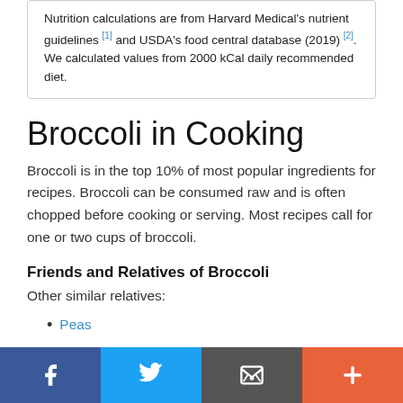Nutrition calculations are from Harvard Medical's nutrient guidelines [1] and USDA's food central database (2019) [2]. We calculated values from 2000 kCal daily recommended diet.
Broccoli in Cooking
Broccoli is in the top 10% of most popular ingredients for recipes. Broccoli can be consumed raw and is often chopped before cooking or serving. Most recipes call for one or two cups of broccoli.
Friends and Relatives of Broccoli
Other similar relatives:
Peas
Green Bean
Cauliflower